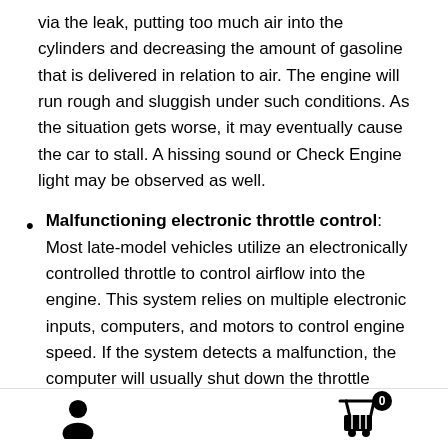via the leak, putting too much air into the cylinders and decreasing the amount of gasoline that is delivered in relation to air. The engine will run rough and sluggish under such conditions. As the situation gets worse, it may eventually cause the car to stall. A hissing sound or Check Engine light may be observed as well.
Malfunctioning electronic throttle control: Most late-model vehicles utilize an electronically controlled throttle to control airflow into the engine. This system relies on multiple electronic inputs, computers, and motors to control engine speed. If the system detects a malfunction, the computer will usually shut down the throttle
[Figure (illustration): Footer bar with a person icon on the left and a shopping cart icon with badge showing '0' on the right]